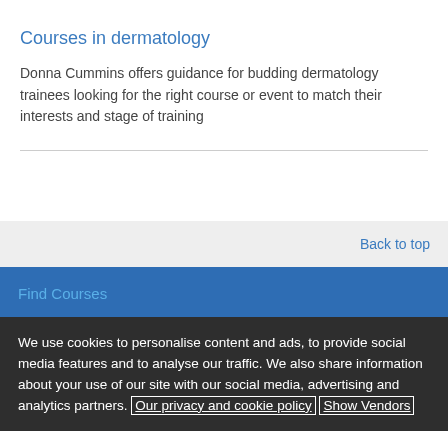Courses in dermatology
Donna Cummins offers guidance for budding dermatology trainees looking for the right course or event to match their interests and stage of training
Back to top
Find Courses
We use cookies to personalise content and ads, to provide social media features and to analyse our traffic. We also share information about your use of our site with our social media, advertising and analytics partners. Our privacy and cookie policy Show Vendors